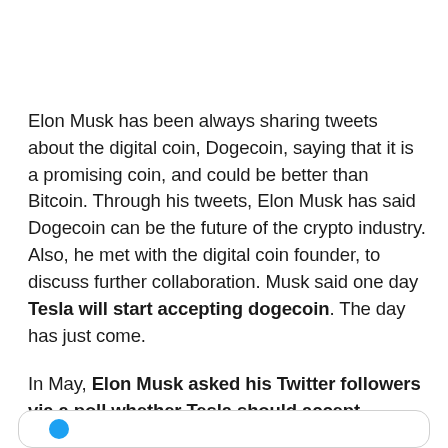Elon Musk has been always sharing tweets about the digital coin, Dogecoin, saying that it is a promising coin, and could be better than Bitcoin. Through his tweets, Elon Musk has said Dogecoin can be the future of the crypto industry. Also, he met with the digital coin founder, to discuss further collaboration. Musk said one day Tesla will start accepting dogecoin. The day has just come.
In May, Elon Musk asked his Twitter followers via a poll whether Tesla should accept Dogecoin or not.